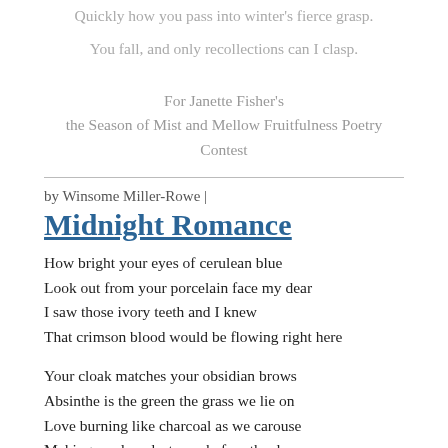Quickly how you pass into winter's fierce grasp.
You fall, and only recollections can I clasp.
For Janette Fisher's
the Season of Mist and Mellow Fruitfulness Poetry Contest
by Winsome Miller-Rowe |
Midnight Romance
How bright your eyes of cerulean blue
Look out from your porcelain face my dear
I saw those ivory teeth and I knew
That crimson blood would be flowing right here
Your cloak matches your obsidian brows
Absinthe is the green the grass we lie on
Love burning like charcoal as we carouse
Making our love last way before the dawn